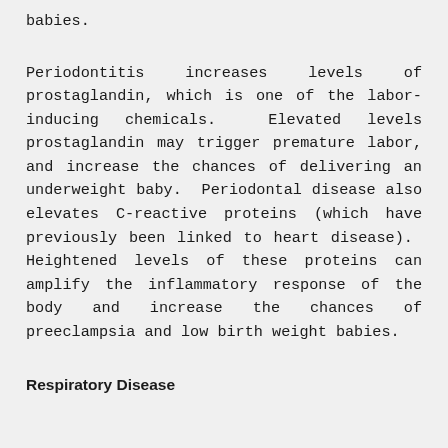babies.
Periodontitis increases levels of prostaglandin, which is one of the labor-inducing chemicals. Elevated levels prostaglandin may trigger premature labor, and increase the chances of delivering an underweight baby. Periodontal disease also elevates C-reactive proteins (which have previously been linked to heart disease). Heightened levels of these proteins can amplify the inflammatory response of the body and increase the chances of preeclampsia and low birth weight babies.
Respiratory Disease